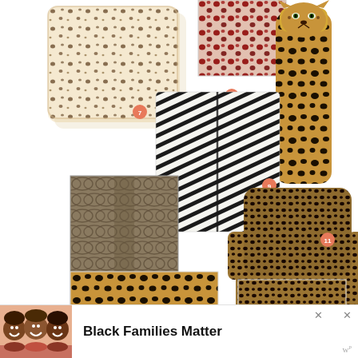[Figure (photo): Cheetah/dalmatian spot print throw pillow, beige/cream background with brown spots, labeled 7]
[Figure (photo): Red and dark animal spot print fabric swatch labeled 8]
[Figure (photo): Leopard ceramic vase with cheetah face, yellow/brown spotted, labeled 8]
[Figure (photo): Zebra stripe black and white throw pillow, labeled 9]
[Figure (photo): Snake skin patterned rug or fabric swatch, brown/grey tones, labeled 10]
[Figure (photo): Leopard print upholstered armchair with black legs, brown/tan leopard print fabric, labeled 11]
[Figure (photo): Tan/gold leopard print fabric swatch, bottom left]
[Figure (photo): Brown/tan leopard print rug or fabric swatch, bottom right]
[Figure (photo): Advertisement: Black Families Matter with photo of three smiling girls]
Black Families Matter